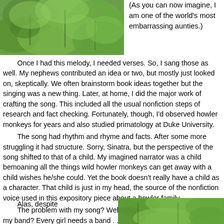[Figure (photo): Green tropical leaves photograph, top left corner]
(As you can now imagine, I am one of the world's most embarrassing aunties.)
Once I had this melody, I needed verses. So, I sang those as well. My nephews contributed an idea or two, but mostly just looked on, skeptically. We often brainstorm book ideas together but the singing was a new thing. Later, at home, I did the major work of crafting the song. This included all the usual nonfiction steps of research and fact checking. Fortunately, though, I'd observed howler monkeys for years and also studied primatology at Duke University.

The song had rhythm and rhyme and facts. After some more struggling it had structure. Sorry, Sinatra, but the perspective of the song shifted to that of a child. My imagined narrator was a child bemoaning all the things wild howler monkeys can get away with a child wishes he/she could. Yet the book doesn't really have a child as a character. That child is just in my head, the source of the nonfiction voice used in this expository piece about a howler family.

The problem with my song? Well, again, I lack a band. Where IS my band? Every girl needs a band . . . Anyway, the second problem was this song's conversion to the picture book form. I've often lectured about the connections between song form, story form, and picture book form. (I discovered this song/picture book connection while on a long school visit drive when Loretta Lynn was on the radio. Her songs use a form called the Nashville turnaround which, I noticed, was a classic picture book structure.)

Alas, despite
[Figure (photo): Green tropical leaves photograph, bottom right corner]